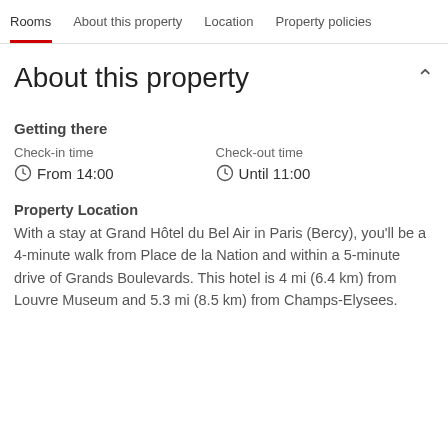Rooms  About this property  Location  Property policies
About this property
Getting there
Check-in time
From 14:00
Check-out time
Until 11:00
Property Location
With a stay at Grand Hôtel du Bel Air in Paris (Bercy), you'll be a 4-minute walk from Place de la Nation and within a 5-minute drive of Grands Boulevards. This hotel is 4 mi (6.4 km) from Louvre Museum and 5.3 mi (8.5 km) from Champs-Elysees.